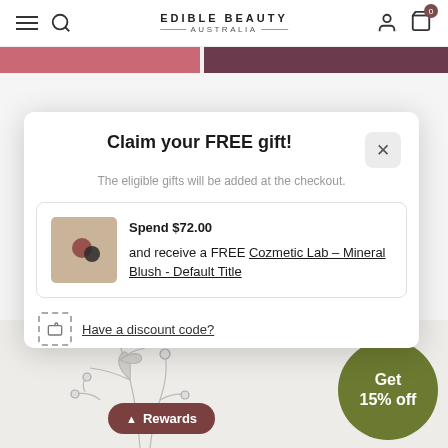EDIBLE BEAUTY AUSTRALIA
Claim your FREE gift!
The eligible gifts will be added at the checkout.
Spend $72.00 and receive a FREE Cozmetic Lab – Mineral Blush - Default Title
Have a discount code?
Get 15% off
Rewards